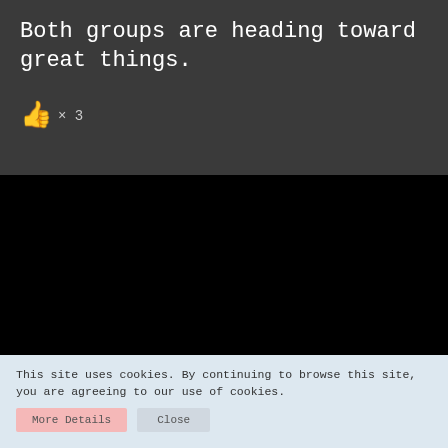Both groups are heading toward great things.
👍 × 3
[Figure (other): Black video player area, fully black screen]
This site uses cookies. By continuing to browse this site, you are agreeing to our use of cookies.
More Details  Close